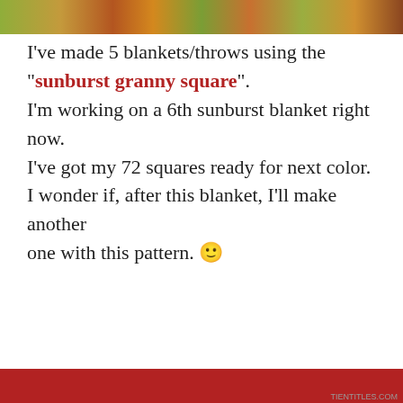[Figure (photo): Top strip showing colorful yarn/blanket in greens, oranges and reds]
I've made 5 blankets/throws using the “sunburst granny square”. I'm working on a 6th sunburst blanket right now. I've got my 72 squares ready for next color. I wonder if, after this blanket, I'll make another one with this pattern. 🙂
Privacy & Cookies: This site uses cookies. By continuing to use this website, you agree to their use. To find out more, including how to control cookies, see here: Cookie Policy.
Close and accept